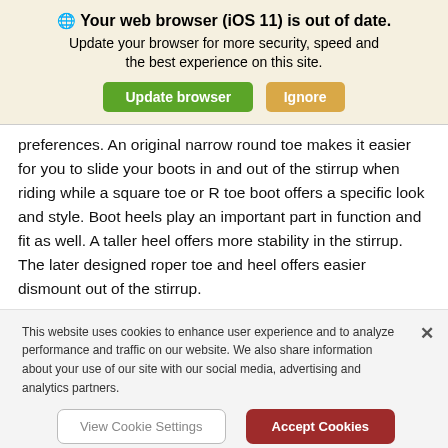[Figure (screenshot): Browser update warning banner with globe icon, bold title 'Your web browser (iOS 11) is out of date.', subtitle text, and two buttons: green 'Update browser' and tan 'Ignore']
preferences. An original narrow round toe makes it easier for you to slide your boots in and out of the stirrup when riding while a square toe or R toe boot offers a specific look and style. Boot heels play an important part in function and fit as well. A taller heel offers more stability in the stirrup. The later designed roper toe and heel offers easier dismount out of the stirrup.
This website uses cookies to enhance user experience and to analyze performance and traffic on our website. We also share information about your use of our site with our social media, advertising and analytics partners.
[Figure (screenshot): Cookie consent notice with close X button, descriptive text, and two buttons: 'View Cookie Settings' (outlined) and 'Accept Cookies' (dark red)]